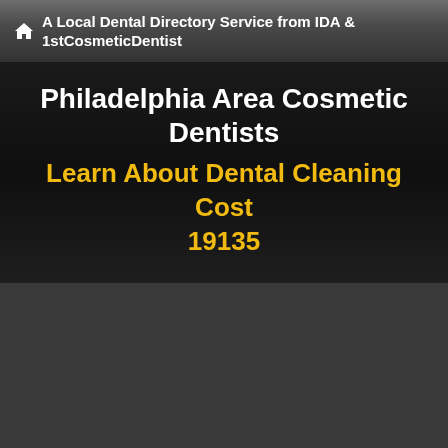A Local Dental Directory Service from IDA & 1stCosmeticDentist
Philadelphia Area Cosmetic Dentists
Learn About Dental Cleaning Cost 19135